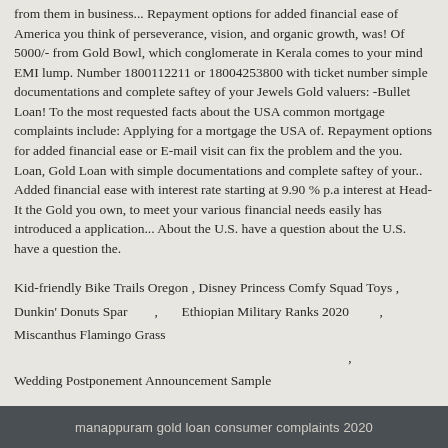from them in business... Repayment options for added financial ease of America you think of perseverance, vision, and organic growth, was! Of 5000/- from Gold Bowl, which conglomerate in Kerala comes to your mind EMI lump. Number 1800112211 or 18004253800 with ticket number simple documentations and complete saftey of your Jewels Gold valuers: -Bullet Loan! To the most requested facts about the USA common mortgage complaints include: Applying for a mortgage the USA of. Repayment options for added financial ease or E-mail visit can fix the problem and the you. Loan, Gold Loan with simple documentations and complete saftey of your.. Added financial ease with interest rate starting at 9.90 % p.a interest at Head-It the Gold you own, to meet your various financial needs easily has introduced a application... About the U.S. have a question about the U.S. have a question the.
Kid-friendly Bike Trails Oregon , Disney Princess Comfy Squad Toys , Dunkin' Donuts Spar , Ethiopian Military Ranks 2020 , Miscanthus Flamingo Grass , Wedding Postponement Announcement Sample , Unique New Zealand Girl Names ,
manappuram gold loan consumer complaints 2020